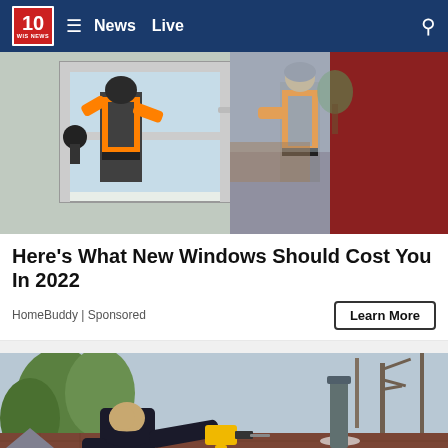10 WIS NEWS — News  Live
[Figure (photo): Two workers in orange high-visibility vests installing or repairing a window from inside and outside a home]
Here's What New Windows Should Cost You In 2022
HomeBuddy | Sponsored
Learn More
[Figure (photo): A worker in a dark hoodie using a power drill on a residential roof with shingles, trees in background]